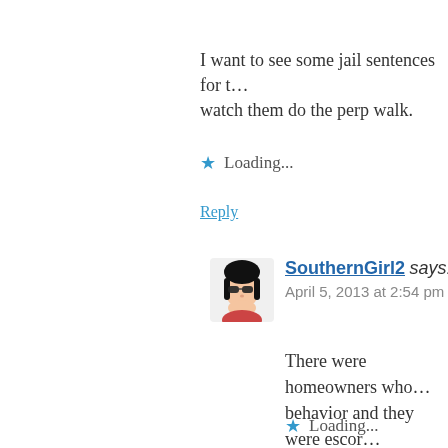I want to see some jail sentences for t… watch them do the perp walk.
Loading...
Reply
[Figure (illustration): Avatar of SouthernGirl2: cartoon woman with black hair and sunglasses]
SouthernGirl2 says:
April 5, 2013 at 2:54 pm
There were homeowners who… behavior and they were escor… association meeting. Someor… allow him to continue acting… I'd like to know who escorte… complaining out?
Loading...